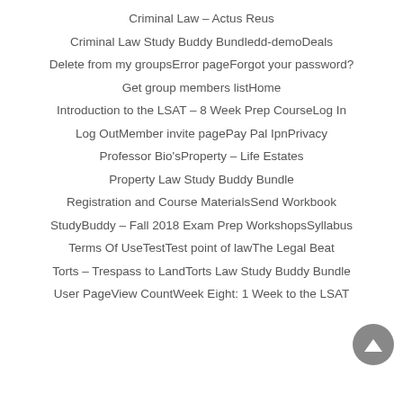Criminal Law – Actus Reus
Criminal Law Study Buddy Bundle   dd-demo   Deals
Delete from my groups   Error page   Forgot your password?
Get group members list   Home
Introduction to the LSAT – 8 Week Prep Course   Log In
Log Out   Member invite page   Pay Pal Ipn   Privacy
Professor Bio's   Property – Life Estates
Property Law Study Buddy Bundle
Registration and Course Materials   Send Workbook
StudyBuddy – Fall 2018 Exam Prep Workshops   Syllabus
Terms Of Use   Test   Test point of law   The Legal Beat
Torts – Trespass to Land   Torts Law Study Buddy Bundle
User Page   View Count   Week Eight: 1 Week to the LSAT